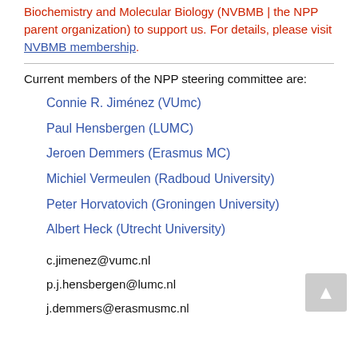Biochemistry and Molecular Biology (NVBMB | the NPP parent organization) to support us. For details, please visit NVBMB membership.
Current members of the NPP steering committee are:
Connie R. Jiménez (VUmc)
Paul Hensbergen (LUMC)
Jeroen Demmers (Erasmus MC)
Michiel Vermeulen (Radboud University)
Peter Horvatovich (Groningen University)
Albert Heck (Utrecht University)
c.jimenez@vumc.nl
p.j.hensbergen@lumc.nl
j.demmers@erasmusmc.nl